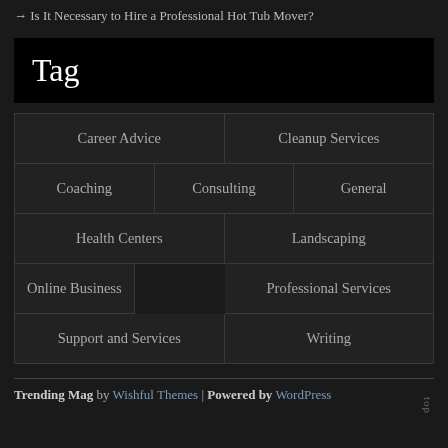→ Is It Necessary to Hire a Professional Hot Tub Mover?
Tag
Career Advice
Cleanup Services
Coaching
Consulting
General
Health Centers
Landscaping
Online Business
Professional Services
Support and Services
Writing
Trending Mag by Wishful Themes | Powered by WordPress